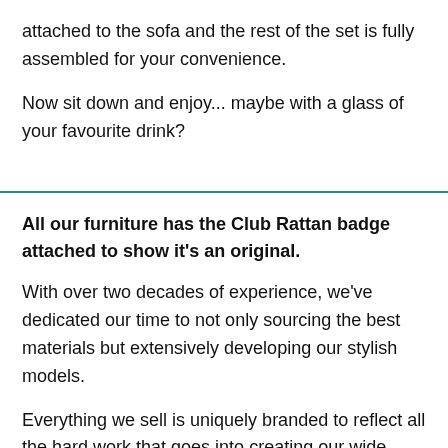attached to the sofa and the rest of the set is fully assembled for your convenience.

Now sit down and enjoy... maybe with a glass of your favourite drink?
All our furniture has the Club Rattan badge attached to show it's an original.
With over two decades of experience, we've dedicated our time to not only sourcing the best materials but extensively developing our stylish models.
Everything we sell is uniquely branded to reflect all the hard work that goes into creating our wide selection of garden furniture. Remember, there are